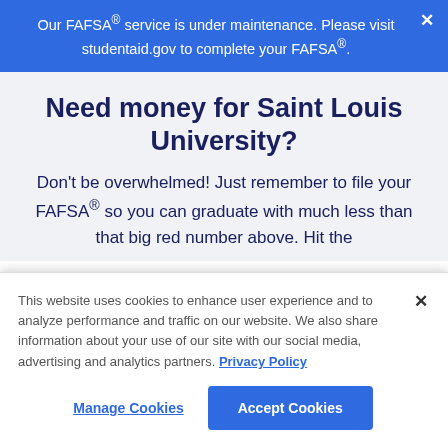Our FAFSA® service is under maintenance. Please visit studentaid.gov to complete your FAFSA®.
Need money for Saint Louis University?
Don't be overwhelmed! Just remember to file your FAFSA® so you can graduate with much less than that big red number above. Hit the
This website uses cookies to enhance user experience and to analyze performance and traffic on our website. We also share information about your use of our site with our social media, advertising and analytics partners. Privacy Policy
Manage Cookies
Accept Cookies